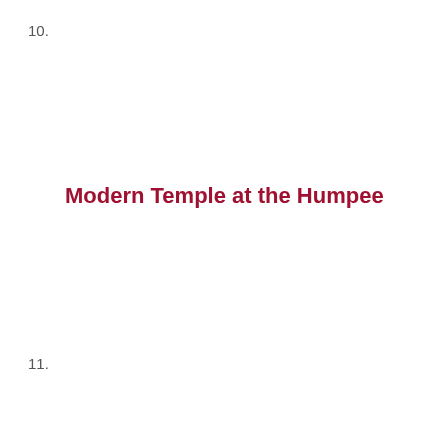10.
Modern Temple at the Humpee
11.